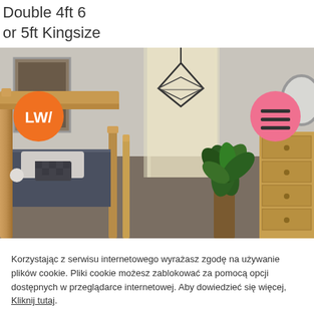Double 4ft 6
or 5ft Kingsize
[Figure (photo): Bedroom interior photo showing a wooden pine bed frame with pillows, a hanging geometric pendant lamp, a large indoor plant, a wooden chest of drawers, a wall mirror, and wall art. Orange LWF logo circle on left and pink hamburger menu circle on right overlay the image.]
Korzystając z serwisu internetowego wyrażasz zgodę na używanie plików cookie. Pliki cookie możesz zablokować za pomocą opcji dostępnych w przeglądarce internetowej. Aby dowiedzieć się więcej, Kliknij tutaj.
Cookie Ustawienia
Zaakceptuj Wszystko